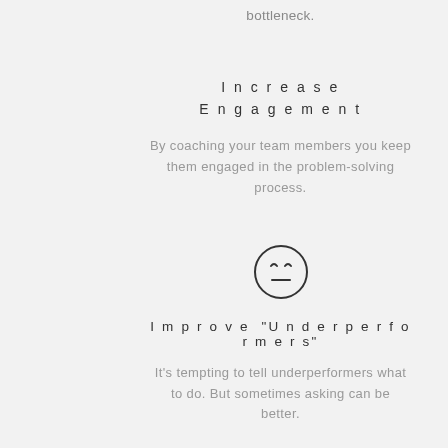bottleneck.
Increase
Engagement
By coaching your team members you keep them engaged in the problem-solving process.
[Figure (illustration): A simple face emoji icon with closed/annoyed eyes and a straight line for mouth, inside a circle outline]
Improve "Underperformers"
It's tempting to tell underperformers what to do. But sometimes asking can be better.
[Figure (photo): Partial view of a person's head at the bottom of the page]